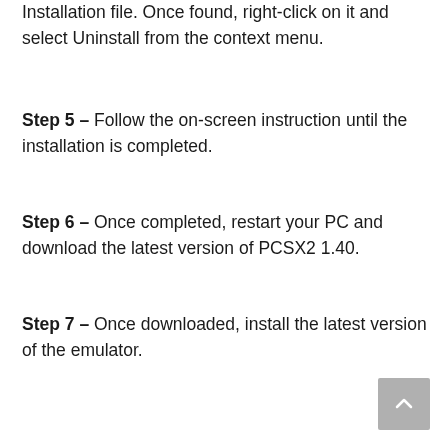Installation file. Once found, right-click on it and select Uninstall from the context menu.
Step 5 – Follow the on-screen instruction until the installation is completed.
Step 6 – Once completed, restart your PC and download the latest version of PCSX2 1.40.
Step 7 – Once downloaded, install the latest version of the emulator.